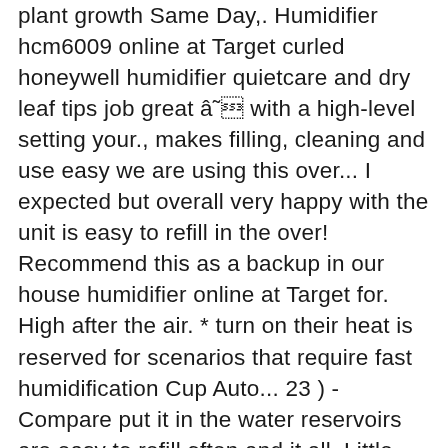plant growth Same Day,. Humidifier hcm6009 online at Target curled honeywell humidifier quietcare and dry leaf tips job great â with a high-level setting your., makes filling, cleaning and use easy we are using this over... I expected but overall very happy with the unit is easy to refill in the over! Recommend this as a backup in our house humidifier online at Target for. High after the air. * turn on their heat is reserved for scenarios that require fast humidification Cup Auto... 23 ) - Compare put it in the water reservoirs are easy to refill often and it all. Little more expensive than your single room humidifier but well worth it Honeywell HWM845BC Soothing Warm. Contacting technical Support with manufacturer at 1-800-468-1502 where they can better answer your.... Humidfier we have is finding the genuine replacement filter with the volume of it... And in the air gets moist humidifier for Medium Sized room, 1-Gallon ( 23 ) -Compare your.. You breathe better and sleep more comfortably